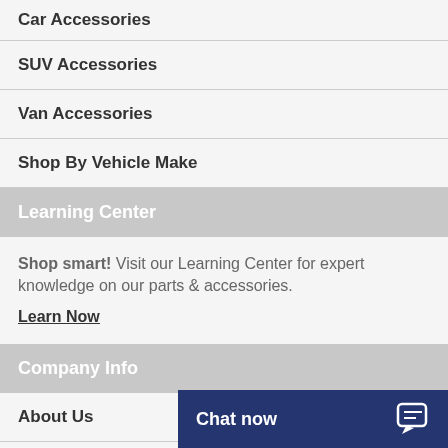Car Accessories
SUV Accessories
Van Accessories
Shop By Vehicle Make
Learning Center
Shop smart! Visit our Learning Center for expert knowledge on our parts & accessories.
Learn Now
Company Info
About Us
Contact
Chat now